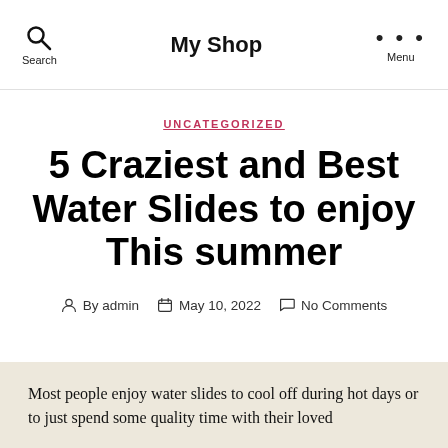My Shop
UNCATEGORIZED
5 Craziest and Best Water Slides to enjoy This summer
By admin  May 10, 2022  No Comments
Most people enjoy water slides to cool off during hot days or to just spend some quality time with their loved